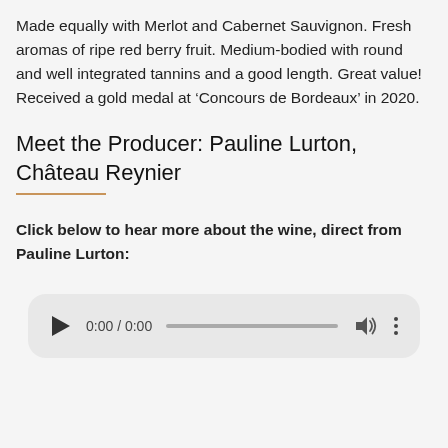Made equally with Merlot and Cabernet Sauvignon. Fresh aromas of ripe red berry fruit. Medium-bodied with round and well integrated tannins and a good length. Great value! Received a gold medal at ‘Concours de Bordeaux’ in 2020.
Meet the Producer: Pauline Lurton, Château Reynier
Click below to hear more about the wine, direct from Pauline Lurton:
[Figure (other): Audio player widget showing 0:00 / 0:00 with play button, progress bar, volume icon, and more options icon]